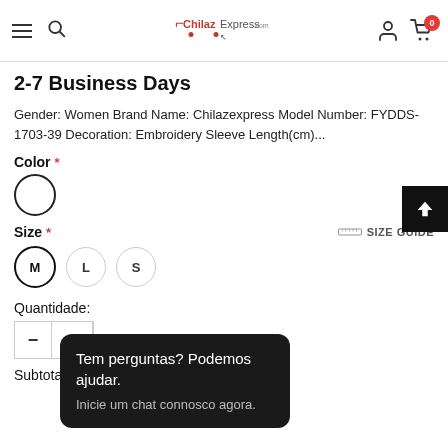[Figure (screenshot): ChilazExpress.com e-commerce website header with hamburger menu, search icon, logo, user icon, and cart icon showing 0 items]
2-7 Business Days
Gender: Women Brand Name: Chilazexpress Model Number: FYDDS-1703-39 Decoration: Embroidery Sleeve Length(cm)...
Color *
[Figure (other): White/empty color swatch circle]
Size *
SIZE GUIDE
M  L  S (size buttons, M selected)
Quantidade:
- 1 (quantity selector)
Subtotal: €41.80
Tem perguntas? Podemos ajudar. Inicie um chat connosco agora.